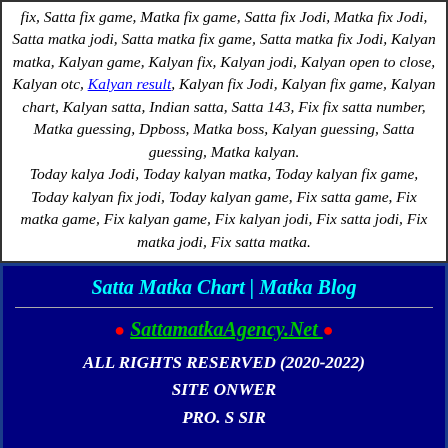fix, Satta fix game, Matka fix game, Satta fix Jodi, Matka fix Jodi, Satta matka jodi, Satta matka fix game, Satta matka fix Jodi, Kalyan matka, Kalyan game, Kalyan fix, Kalyan jodi, Kalyan open to close, Kalyan otc, Kalyan result, Kalyan fix Jodi, Kalyan fix game, Kalyan chart, Kalyan satta, Indian satta, Satta 143, Fix fix satta number, Matka guessing, Dpboss, Matka boss, Kalyan guessing, Satta guessing, Matka kalyan. Today kalya Jodi, Today kalyan matka, Today kalyan fix game, Today kalyan fix jodi, Today kalyan game, Fix satta game, Fix matka game, Fix kalyan game, Fix kalyan jodi, Fix satta jodi, Fix matka jodi, Fix satta matka.
Satta Matka Chart | Matka Blog
• SattamatkaAgency.Net •
ALL RIGHTS RESERVED (2020-2022) SITE ONWER PRO. S SIR
07772000388
Refresh